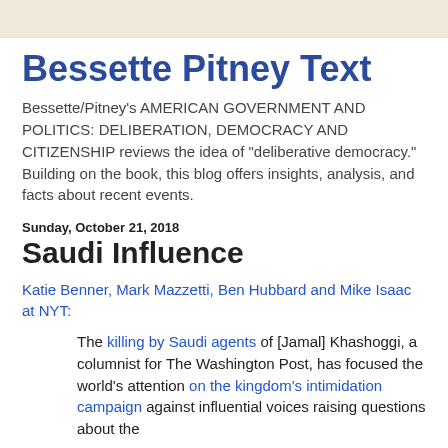Bessette Pitney Text
Bessette/Pitney's AMERICAN GOVERNMENT AND POLITICS: DELIBERATION, DEMOCRACY AND CITIZENSHIP reviews the idea of "deliberative democracy." Building on the book, this blog offers insights, analysis, and facts about recent events.
Sunday, October 21, 2018
Saudi Influence
Katie Benner, Mark Mazzetti, Ben Hubbard and Mike Isaac at NYT:
The killing by Saudi agents of [Jamal] Khashoggi, a columnist for The Washington Post, has focused the world’s attention on the kingdom’s intimidation campaign against influential voices raising questions about the